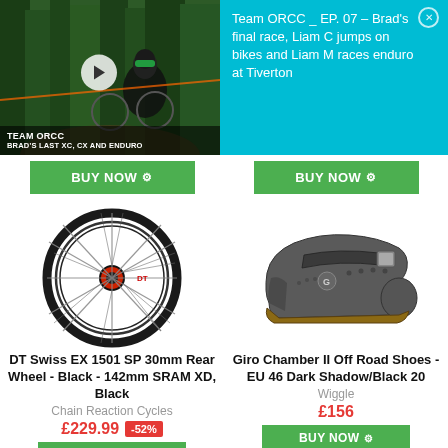[Figure (screenshot): Video thumbnail showing mountain bike rider in forest with Team ORCC overlay text]
Team ORCC _ EP. 07 – Brad's final race, Liam C jumps on bikes and Liam M races enduro at Tiverton
[Figure (other): BUY NOW button (green) left]
[Figure (other): BUY NOW button (green) right]
[Figure (photo): DT Swiss EX 1501 SP 30mm rear wheel, black spoked bicycle wheel]
[Figure (photo): Giro Chamber II Off Road Shoes in Dark Shadow/Black]
DT Swiss EX 1501 SP 30mm Rear Wheel - Black - 142mm SRAM XD, Black
Giro Chamber II Off Road Shoes - EU 46 Dark Shadow/Black 20
Chain Reaction Cycles
Wiggle
£229.99  -52%
£156
[Figure (other): BUY NOW button bottom left]
[Figure (other): BUY NOW button bottom right]